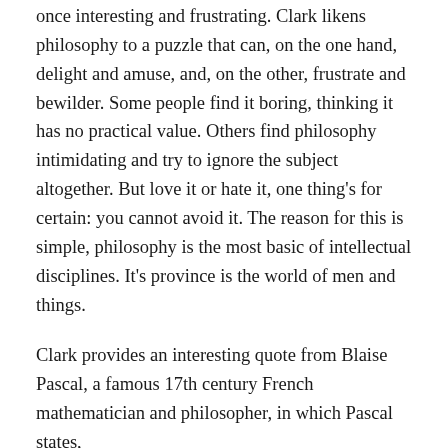once interesting and frustrating. Clark likens philosophy to a puzzle that can, on the one hand, delight and amuse, and, on the other, frustrate and bewilder. Some people find it boring, thinking it has no practical value. Others find philosophy intimidating and try to ignore the subject altogether. But love it or hate it, one thing's for certain: you cannot avoid it. The reason for this is simple, philosophy is the most basic of intellectual disciplines. It's province is the world of men and things.
Clark provides an interesting quote from Blaise Pascal, a famous 17th century French mathematician and philosopher, in which Pascal states,
Man is but a reed, the weakest thing in nature; but he is a thinking reed. It is not necessary that the entire universe arm itself to crush him. A vapor, a drop of water suffices to kill him. But though the universe should kill him, man would still be nobler than what kills him, because he